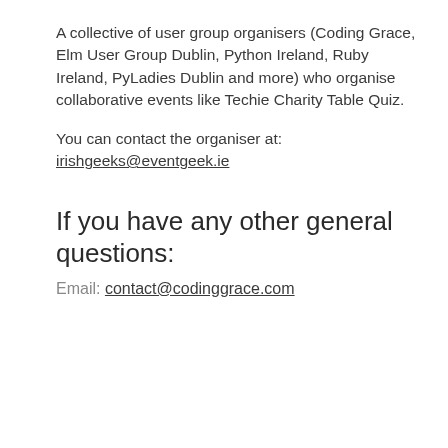A collective of user group organisers (Coding Grace, Elm User Group Dublin, Python Ireland, Ruby Ireland, PyLadies Dublin and more) who organise collaborative events like Techie Charity Table Quiz.
You can contact the organiser at: irishgeeks@eventgeek.ie
If you have any other general questions:
Email: contact@codinggrace.com